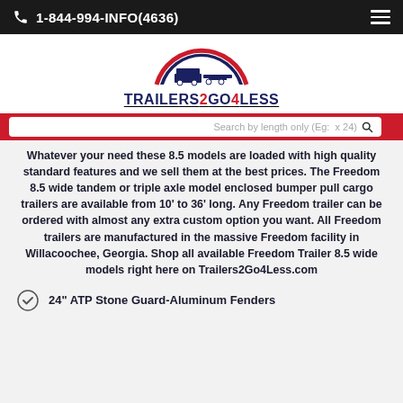1-844-994-INFO(4636)
[Figure (logo): Trailers2Go4Less logo with circular emblem showing trailers and text TRAILERS2GO4LESS]
Search by length only (Eg:  x 24)
Whatever your need these 8.5 models are loaded with high quality standard features and we sell them at the best prices. The Freedom 8.5 wide tandem or triple axle model enclosed bumper pull cargo trailers are available from 10' to 36' long. Any Freedom trailer can be ordered with almost any extra custom option you want. All Freedom trailers are manufactured in the massive Freedom facility in Willacoochee, Georgia. Shop all available Freedom Trailer 8.5 wide models right here on Trailers2Go4Less.com
24" ATP Stone Guard-Aluminum Fenders